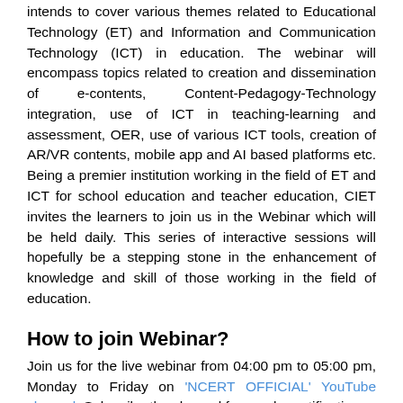intends to cover various themes related to Educational Technology (ET) and Information and Communication Technology (ICT) in education. The webinar will encompass topics related to creation and dissemination of e-contents, Content-Pedagogy-Technology integration, use of ICT in teaching-learning and assessment, OER, use of various ICT tools, creation of AR/VR contents, mobile app and AI based platforms etc. Being a premier institution working in the field of ET and ICT for school education and teacher education, CIET invites the learners to join us in the Webinar which will be held daily. This series of interactive sessions will hopefully be a stepping stone in the enhancement of knowledge and skill of those working in the field of education.
How to join Webinar?
Join us for the live webinar from 04:00 pm to 05:00 pm, Monday to Friday on 'NCERT OFFICIAL' YouTube channel. Subscribe the channel for regular notification.

You can watch this webinar telecast through